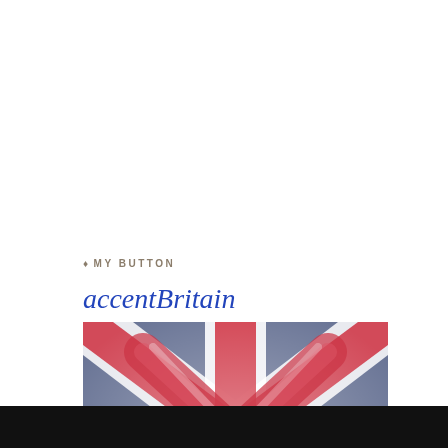♠ MY BUTTON
accentBritain
[Figure (illustration): A stylized Union Jack (British flag) with a painterly/blurred effect, featuring red diagonal cross and blue and white elements.]
<a href="http://accentbritain.c... target="_blank"><img src="http://accentbritain.c... alt="accentBritain.com" width="125" height="125" /></a>